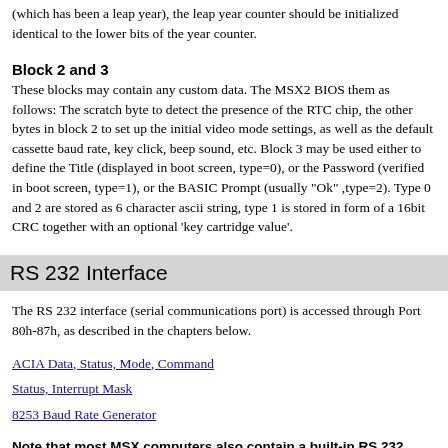(which has been a leap year), the leap year counter should be initialized identical to the lower bits of the year counter.
Block 2 and 3
These blocks may contain any custom data. The MSX2 BIOS them as follows: The scratch byte to detect the presence of the RTC chip, the other bytes in block 2 to set up the initial video mode settings, as well as the default cassette baud rate, key click, beep sound, etc. Block 3 may be used either to define the Title (displayed in boot screen, type=0), or the Password (verified in boot screen, type=1), or the BASIC Prompt (usually "Ok" ,type=2). Type 0 and 2 are stored as 6 character ascii string, type 1 is stored in form of a 16bit CRC together with an optional 'key cartridge value'.
RS 232 Interface
The RS 232 interface (serial communications port) is accessed through Port 80h-87h, as described in the chapters below.
ACIA Data, Status, Mode, Command
Status, Interrupt Mask
8253 Baud Rate Generator
Note that most MSX computers also contain a built-in RS 232